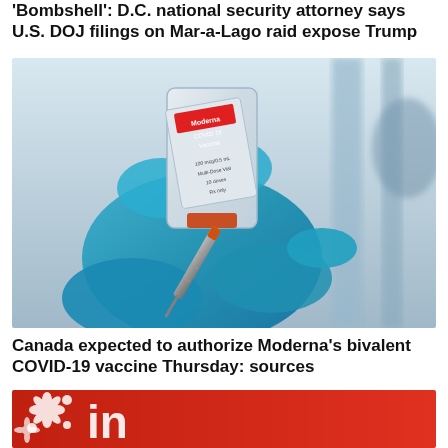'Bombshell': D.C. national security attorney says U.S. DOJ filings on Mar-a-Lago raid expose Trump
[Figure (photo): A gloved hand holding a Moderna COVID-19 vaccine vial and a syringe]
Canada expected to authorize Moderna's bivalent COVID-19 vaccine Thursday: sources
[Figure (photo): Close-up of a red sign with white floral/snowflake pattern and white lettering, partially visible]